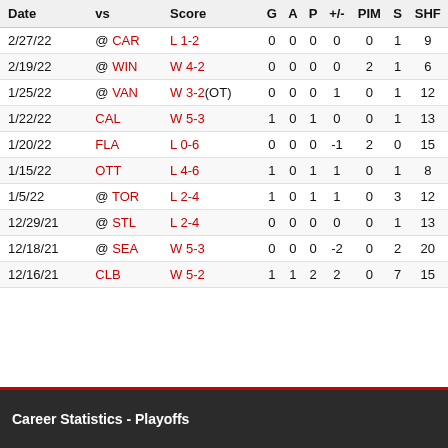| Date | vs | Score | G | A | P | +/- | PIM | S | SHF |
| --- | --- | --- | --- | --- | --- | --- | --- | --- | --- |
| 2/27/22 | @ CAR | L 1-2 | 0 | 0 | 0 | 0 | 0 | 1 | 9 |
| 2/19/22 | @ WIN | W 4-2 | 0 | 0 | 0 | 0 | 2 | 1 | 6 |
| 1/25/22 | @ VAN | W 3-2(OT) | 0 | 0 | 0 | 1 | 0 | 1 | 12 |
| 1/22/22 | CAL | W 5-3 | 1 | 0 | 1 | 0 | 0 | 1 | 13 |
| 1/20/22 | FLA | L 0-6 | 0 | 0 | 0 | -1 | 2 | 0 | 15 |
| 1/15/22 | OTT | L 4-6 | 1 | 0 | 1 | 1 | 0 | 1 | 8 |
| 1/5/22 | @ TOR | L 2-4 | 1 | 0 | 1 | 1 | 0 | 3 | 12 |
| 12/29/21 | @ STL | L 2-4 | 0 | 0 | 0 | 0 | 0 | 1 | 13 |
| 12/18/21 | @ SEA | W 5-3 | 0 | 0 | 0 | -2 | 0 | 2 | 20 |
| 12/16/21 | CLB | W 5-2 | 1 | 1 | 2 | 2 | 0 | 7 | 15 |
Career Statistics - Playoffs